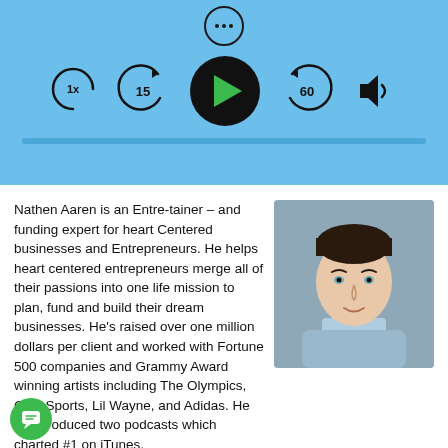[Figure (screenshot): Podcast player UI with sky-blue background showing playback controls: speed (1x), rewind 15s, play button (black circle with green triangle), forward 60s, and volume icon. A three-dot menu circle appears above.]
Nathen Aaren is an Entre-tainer – and funding expert for heart Centered businesses and Entrepreneurs. He helps heart centered entrepreneurs merge all of their passions into one life mission to plan, fund and build their dream businesses. He's raised over one million dollars per client and worked with Fortune 500 companies and Grammy Award winning artists including The Olympics, CBS Sports, Lil Wayne, and Adidas. He has produced two podcasts which charted #1 on iTunes.
[Figure (photo): Headshot of a young white man with dark hair, smiling slightly, wearing a light blue/grey open-collar shirt, against a grey-blue blurred background.]